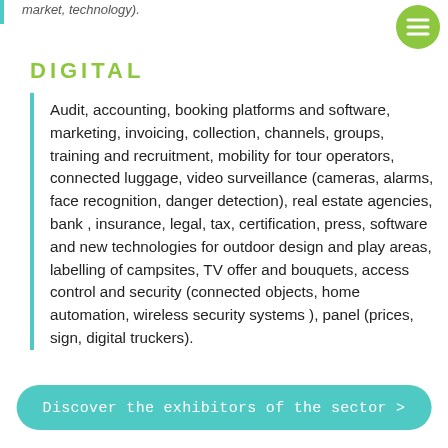market, technology).
DIGITAL
Audit, accounting, booking platforms and software, marketing, invoicing, collection, channels, groups, training and recruitment, mobility for tour operators, connected luggage, video surveillance (cameras, alarms, face recognition, danger detection), real estate agencies, bank , insurance, legal, tax, certification, press, software and new technologies for outdoor design and play areas, labelling of campsites, TV offer and bouquets, access control and security (connected objects, home automation, wireless security systems ), panel (prices, sign, digital truckers).
Discover the exhibitors of the sector >